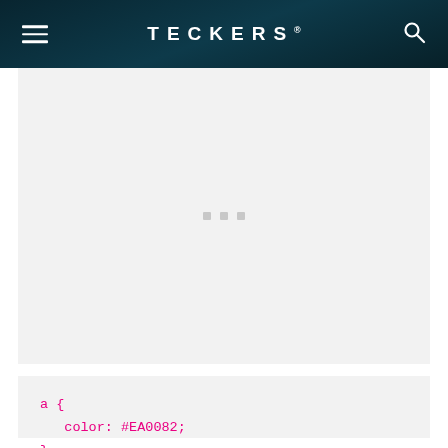TECKERS
[Figure (screenshot): Light gray content area with three small gray square dots centered, indicating a loading or placeholder image]
a {
   color: #EA0082;
}